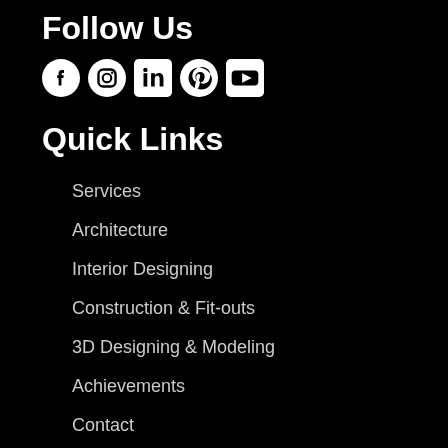Follow Us
[Figure (illustration): Social media icons: Facebook, Instagram, LinkedIn, Pinterest, YouTube]
Quick Links
Services
Architecture
Interior Designing
Construction & Fit-outs
3D Designing & Modeling
Achievements
Contact
Blog
Projects views